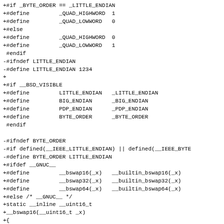+#if _BYTE_ORDER == _LITTLE_ENDIAN
+#define         _QUAD_HIGHWORD  1
+#define         _QUAD_LOWWORD   0
+#else
+#define         _QUAD_HIGHWORD  0
+#define         _QUAD_LOWWORD   1
 #endif
-#ifndef LITTLE_ENDIAN
-#define LITTLE_ENDIAN 1234
+
+#if __BSD_VISIBLE
+#define         LITTLE_ENDIAN   _LITTLE_ENDIAN
+#define         BIG_ENDIAN      _BIG_ENDIAN
+#define         PDP_ENDIAN      _PDP_ENDIAN
+#define         BYTE_ORDER      _BYTE_ORDER
 #endif

-#ifndef BYTE_ORDER
-#if defined(__IEEE_LITTLE_ENDIAN) || defined(__IEEE_BYTE
-#define BYTE_ORDER LITTLE_ENDIAN
+#ifdef __GNUC__
+#define         __bswap16(_x)   __builtin_bswap16(_x)
+#define         __bswap32(_x)   __builtin_bswap32(_x)
+#define         __bswap64(_x)   __builtin_bswap64(_x)
+#else /* __GNUC__ */
+static __inline __uint16_t
+__bswap16(__uint16_t _x)
+{
+
+       return ((__uint16_t)((_x >> 8) | ((_x << 8) & 0x
+}